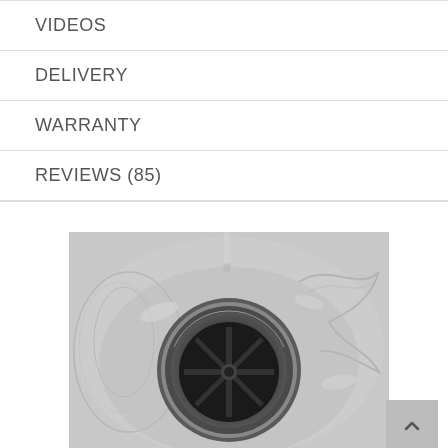VIDEOS
DELIVERY
WARRANTY
REVIEWS (85)
[Figure (photo): Black and white overhead photo of water running into a kitchen sink drain, showing the circular drain strainer with water splashing around it]